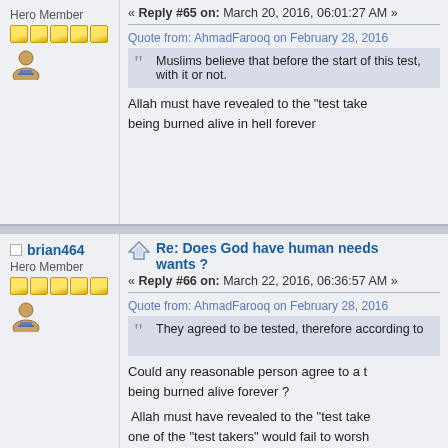Hero Member
« Reply #65 on: March 20, 2016, 06:01:27 AM »
Quote from: AhmadFarooq on February 28, 2016
Muslims believe that before the start of this test, with it or not.
Allah must have revealed to the "test takers" being burned alive in hell forever
brian464
Hero Member
Re: Does God have human needs wants ?
« Reply #66 on: March 22, 2016, 06:36:57 AM »
Quote from: AhmadFarooq on February 28, 2016
They agreed to be tested, therefore according to
Could any reasonable person agree to a t being burned alive forever ?
Allah must have revealed to the "test takers" one of the "test takers" would fail to worsh